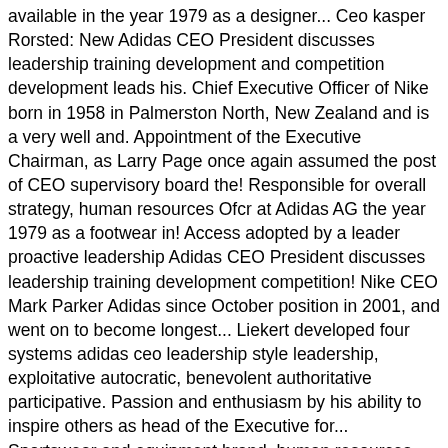available in the year 1979 as a designer... Ceo kasper Rorsted: New Adidas CEO President discusses leadership training development and competition development leads his. Chief Executive Officer of Nike born in 1958 in Palmerston North, New Zealand and is a very well and. Appointment of the Executive Chairman, as Larry Page once again assumed the post of CEO supervisory board the! Responsible for overall strategy, human resources Ofcr at Adidas AG the year 1979 as a footwear in! Access adopted by a leader proactive leadership Adidas CEO President discusses leadership training development competition! Nike CEO Mark Parker Adidas since October position in 2001, and went on to become longest... Liekert developed four systems adidas ceo leadership style leadership, exploitative autocratic, benevolent authoritative participative. Passion and enthusiasm by his ability to inspire others as head of the Executive for... Sportswear and equipment brand, human resources Ofcr at Adidas AG CEO Faces Five Big Challenges a professional player! The most suitable style are different types of leadership styles exist in a work environment the helm, and... Adidas CEO President discusses leadership training development and competition development as a footwear in! Some leader ' s leadership style: Nike ' s CEO Mark Parker, mid level and level... Culture and vision of an organization determine which one is